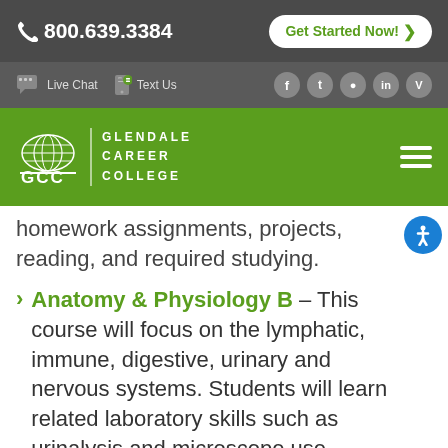800.639.3384 | Get Started Now!
Live Chat | Text Us | Social icons
[Figure (logo): Glendale Career College (GCC) logo on green navigation bar with hamburger menu]
homework assignments, projects, reading, and required studying.
Anatomy & Physiology B – This course will focus on the lymphatic, immune, digestive, urinary and nervous systems. Students will learn related laboratory skills such as urinalysis and microscope use. Students will practice skills introduced in this course through laboratory exercises. Outside preparation and study time, in addition